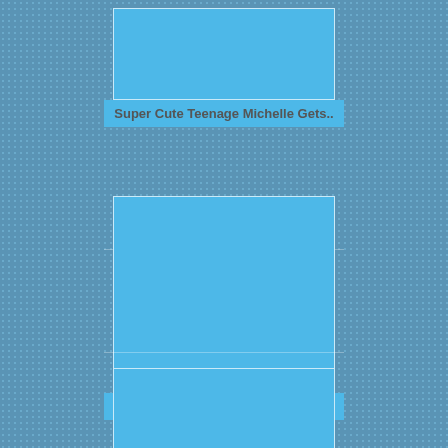[Figure (photo): Thumbnail image placeholder (light blue rectangle)]
Super Cute Teenage Michelle Gets..
[Figure (photo): Thumbnail image placeholder (light blue rectangle)]
Busty Beauty Trio
[Figure (photo): Thumbnail image placeholder (light blue rectangle), partially visible at bottom]